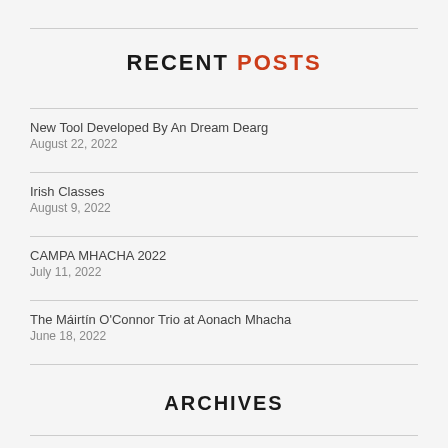RECENT POSTS
New Tool Developed By An Dream Dearg
August 22, 2022
Irish Classes
August 9, 2022
CAMPA MHACHA 2022
July 11, 2022
The Máirtín O'Connor Trio at Aonach Mhacha
June 18, 2022
ARCHIVES